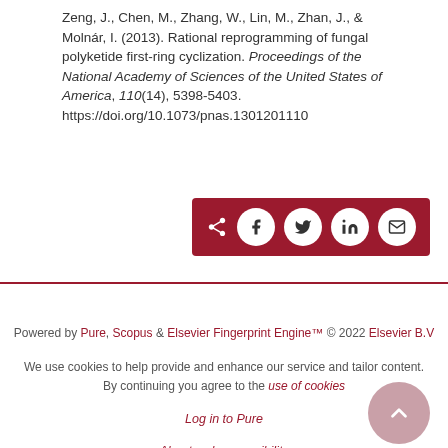Zeng, J., Chen, M., Zhang, W., Lin, M., Zhan, J., & Molnár, I. (2013). Rational reprogramming of fungal polyketide first-ring cyclization. Proceedings of the National Academy of Sciences of the United States of America, 110(14), 5398-5403. https://doi.org/10.1073/pnas.1301201110
[Figure (other): Social share button bar with dark red background containing share, Facebook, Twitter, LinkedIn, and email icons as white circles]
Powered by Pure, Scopus & Elsevier Fingerprint Engine™ © 2022 Elsevier B.V
We use cookies to help provide and enhance our service and tailor content. By continuing you agree to the use of cookies
Log in to Pure
About web accessibility
Contact us